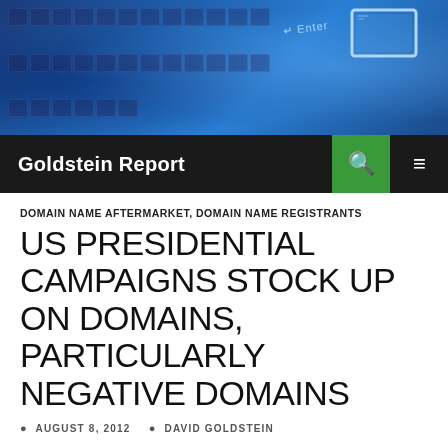[Figure (photo): Blue tinted banner image showing a keyboard, world map silhouette, and computer monitor with Enter key label]
Goldstein Report
DOMAIN NAME AFTERMARKET, DOMAIN NAME REGISTRANTS
US PRESIDENTIAL CAMPAIGNS STOCK UP ON DOMAINS, PARTICULARLY NEGATIVE DOMAINS
AUGUST 8, 2012   DAVID GOLDSTEIN
The US presidential campaign teams for Mitt Romney and Barack Obama are busy buying up domain names to be ready